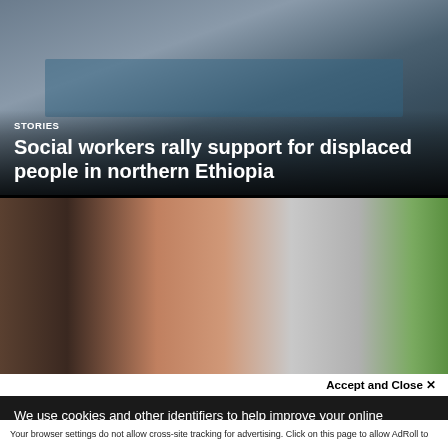[Figure (photo): Photo of people working at a blue table, viewed from above. Appears to be a registration or social work setting in Ethiopia.]
STORIES
Social workers rally support for displaced people in northern Ethiopia
[Figure (photo): Portrait photo of a smiling woman wearing a grey hijab and dark red clothing, with a grey wall behind her and green foliage visible at right.]
We use cookies and other identifiers to help improve your online experience. By using our website you are agreeing to this. Read our privacy policy to find out what cookies are used for and how to change your settings.
Accept and Close ✕
Your browser settings do not allow cross-site tracking for advertising. Click on this page to allow AdRoll to use cross-site tracking to tailor ads to you. Learn more or opt out of this AdRoll tracking by clicking here. This message only appears once.